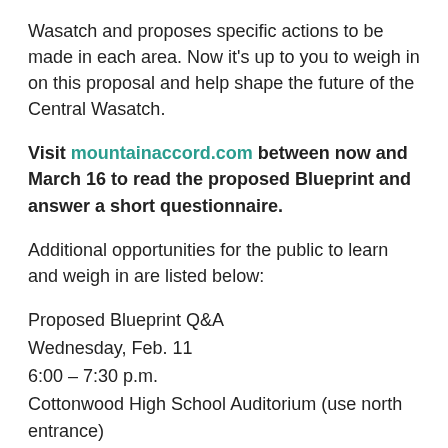Wasatch and proposes specific actions to be made in each area. Now it's up to you to weigh in on this proposal and help shape the future of the Central Wasatch.
Visit mountainaccord.com between now and March 16 to read the proposed Blueprint and answer a short questionnaire.
Additional opportunities for the public to learn and weigh in are listed below:
Proposed Blueprint Q&A
Wednesday, Feb. 11
6:00 – 7:30 p.m.
Cottonwood High School Auditorium (use north entrance)
5715 South 1300 East Murray, UT 84106
Proposed Blueprint Q&A and Open House*